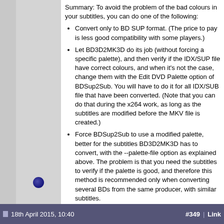Summary: To avoid the problem of the bad colours in your subtitles, you can do one of the following:
Convert only to BD SUP format. (The price to pay is less good compatibility with some players.)
Let BD3D2MK3D do its job (without forcing a specific palette), and then verify if the IDX/SUP file have correct colours, and when it's not the case, change them with the Edit DVD Palette option of BDSup2Sub. You will have to do it for all IDX/SUB file that have been converted. (Note that you can do that during the x264 work, as long as the subtitles are modified before the MKV file is created.)
Force BDSup2Sub to use a modified palette, better for the subtitles BD3D2MK3D has to convert, with the --palette-file option as explained above. The problem is that you need the subtitles to verify if the palette is good, and therefore this method is recommended only when converting several BDs from the same producer, with similar subtitles.
r0lZ
PgcEdit homepage (hosted by VideoHelp)
BD3D2MK3D A tool to convert 3D blu-rays to SBS, T&B or FS MKV
18th April 2015, 10:40   #349 | Link